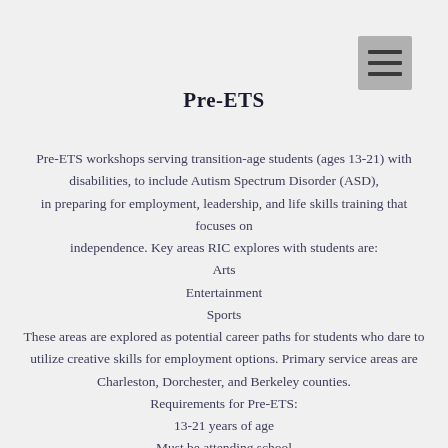[Figure (other): Hamburger menu button icon in gray square at top right corner]
Pre-ETS
Pre-ETS workshops serving transition-age students (ages 13-21) with disabilities, to include Autism Spectrum Disorder (ASD), in preparing for employment, leadership, and life skills training that focuses on independence. Key areas RIC explores with students are: Arts Entertainment Sports These areas are explored as potential career paths for students who dare to utilize creative skills for employment options. Primary service areas are Charleston, Dorchester, and Berkeley counties. Requirements for Pre-ETS: 13-21 years of age Must be attending school